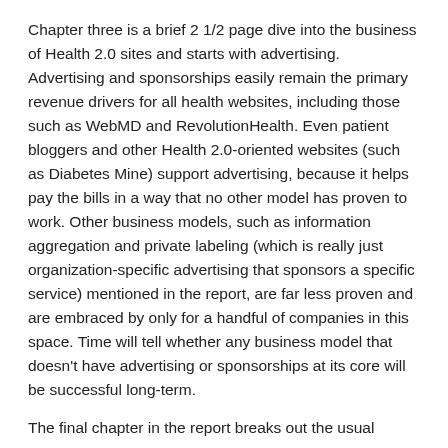Chapter three is a brief 2 1/2 page dive into the business of Health 2.0 sites and starts with advertising. Advertising and sponsorships easily remain the primary revenue drivers for all health websites, including those such as WebMD and RevolutionHealth. Even patient bloggers and other Health 2.0-oriented websites (such as Diabetes Mine) support advertising, because it helps pay the bills in a way that no other model has proven to work. Other business models, such as information aggregation and private labeling (which is really just organization-specific advertising that sponsors a specific service) mentioned in the report, are far less proven and are embraced by only for a handful of companies in this space. Time will tell whether any business model that doesn't have advertising or sponsorships at its core will be successful long-term.
The final chapter in the report breaks out the usual